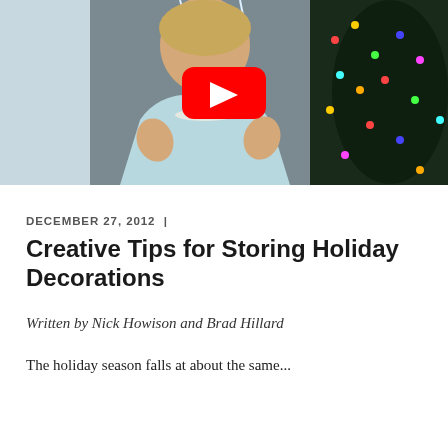[Figure (screenshot): YouTube video thumbnail showing a woman in a light blue blazer with pearl necklace gesturing with both hands, standing in front of a Christmas tree with colorful lights. A red YouTube play button overlay is centered on the image.]
DECEMBER 27, 2012  |
Creative Tips for Storing Holiday Decorations
Written by Nick Howison and Brad Hillard
The holiday season falls at about the same...